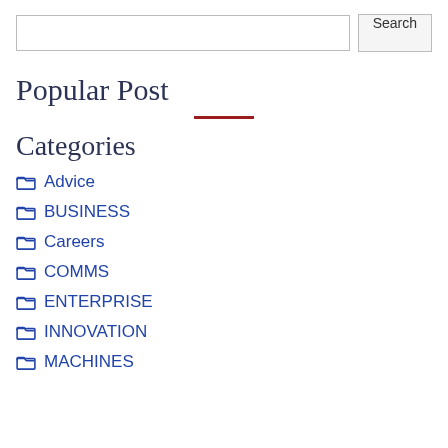Search
Popular Post
Categories
Advice
BUSINESS
Careers
COMMS
ENTERPRISE
INNOVATION
MACHINES